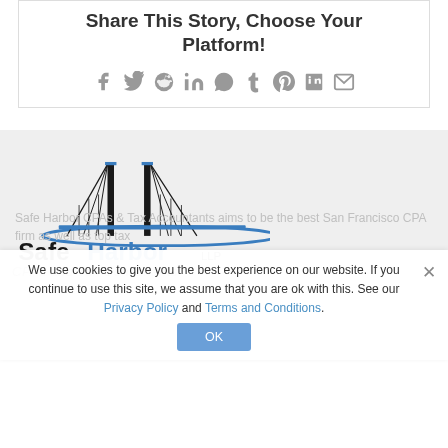Share This Story, Choose Your Platform!
[Figure (infographic): Social media share icons: Facebook, Twitter, Reddit, LinkedIn, WhatsApp, Tumblr, Pinterest, VK, Email]
[Figure (logo): Safe Harbor LLP CPAs and Tax Consultants logo with Golden Gate Bridge illustration in blue and black]
We use cookies to give you the best experience on our website. If you continue to use this site, we assume that you are ok with this. See our Privacy Policy and Terms and Conditions.
Safe Harbor CPAs & Tax Accountants aims to be the best San Francisco CPA firm as well as top tax